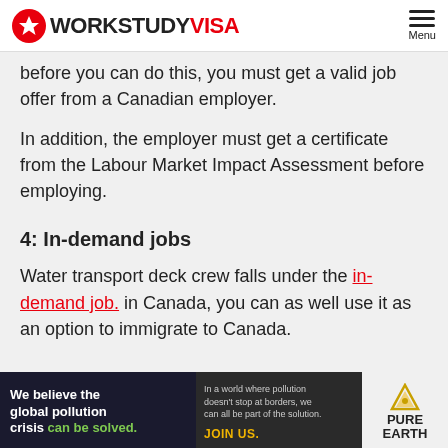WORKSTUDY VISA
before you can do this, you must get a valid job offer from a Canadian employer.
In addition, the employer must get a certificate from the Labour Market Impact Assessment before employing.
4: In-demand jobs
Water transport deck crew falls under the in-demand job. in Canada, you can as well use it as an option to immigrate to Canada.
[Figure (other): Advertisement banner for Pure Earth: 'We believe the global pollution crisis can be solved.' with tagline 'In a world where pollution doesn't stop at borders, we can all be part of the solution. JOIN US.']